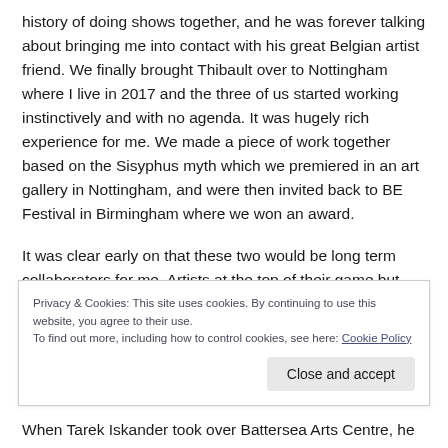history of doing shows together, and he was forever talking about bringing me into contact with his great Belgian artist friend. We finally brought Thibault over to Nottingham where I live in 2017 and the three of us started working instinctively and with no agenda. It was hugely rich experience for me. We made a piece of work together based on the Sisyphus myth which we premiered in an art gallery in Nottingham, and were then invited back to BE Festival in Birmingham where we won an award.
It was clear early on that these two would be long term collaborators for me. Artists at the top of their game but also great people and great friends.
Privacy & Cookies: This site uses cookies. By continuing to use this website, you agree to their use.
To find out more, including how to control cookies, see here: Cookie Policy
When Tarek Iskander took over Battersea Arts Centre, he